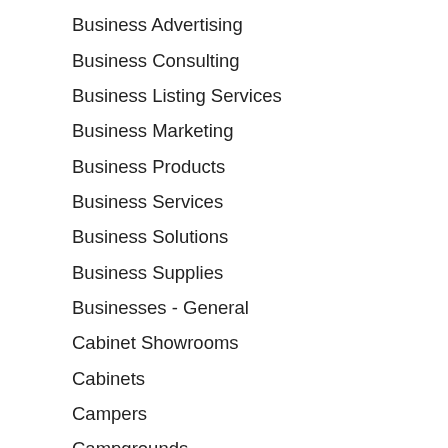Business Advertising
Business Consulting
Business Listing Services
Business Marketing
Business Products
Business Services
Business Solutions
Business Supplies
Businesses - General
Cabinet Showrooms
Cabinets
Campers
Campgrounds
Camping
Car Accident Lawyers